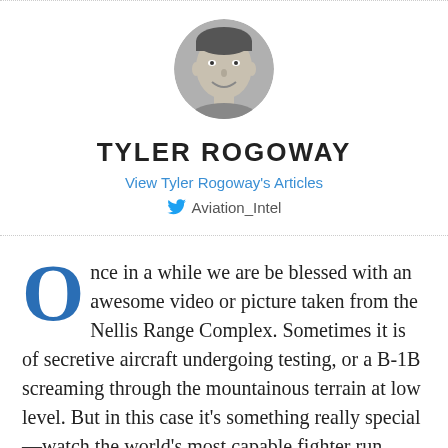[Figure (photo): Circular black and white headshot photo of Tyler Rogoway, a man smiling]
TYLER ROGOWAY
View Tyler Rogoway's Articles
Aviation_Intel
Once in a while we are be blessed with an awesome video or picture taken from the Nellis Range Complex. Sometimes it is of secretive aircraft undergoing testing, or a B-1B screaming through the mountainous terrain at low level. But in this case it's something really special—watch the world's most capable fighter run down a diminutive A-4 Skyhawk as it turns and burns at very low-level in an attempt to save itself from seemingly certain death.